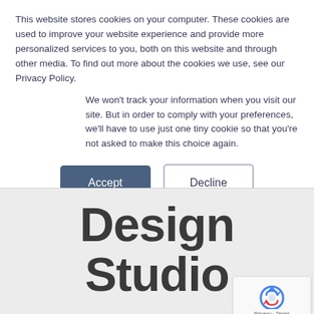This website stores cookies on your computer. These cookies are used to improve your website experience and provide more personalized services to you, both on this website and through other media. To find out more about the cookies we use, see our Privacy Policy.
We won't track your information when you visit our site. But in order to comply with your preferences, we'll have to use just one tiny cookie so that you're not asked to make this choice again.
Accept
Decline
Design Studio
[Figure (logo): reCAPTCHA logo badge with recycling arrow icon and text 'Privacy - Terms']